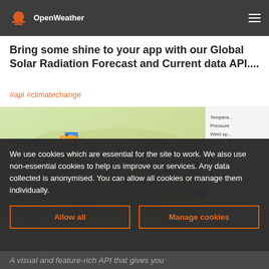OpenWeather
Bring some shine to your app with our Global Solar Radiation Forecast and Current data API....
#api #climatechange
[Figure (screenshot): A weather map showing city temperature/weather labels across Europe and surrounding regions, with a panel on the right showing layer options: Temperature, Pressure, Wind spd, Clouds, Global (checked), Clo...]
We use cookies which are essential for the site to work. We also use non-essential cookies to help us improve our services. Any data collected is anonymised. You can allow all cookies or manage them individually.
Allow all   Manage cookies
A visual and feature-rich API that gives you